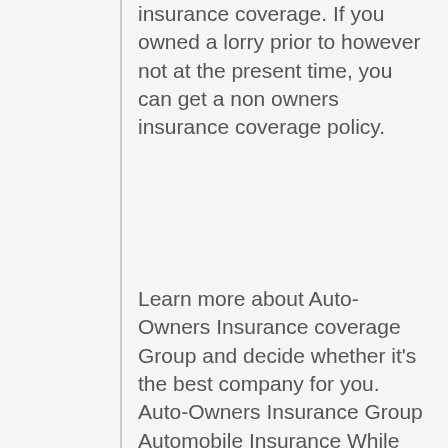insurance coverage. If you owned a lorry prior to however not at the present time, you can get a non owners insurance coverage policy.
Learn more about Auto-Owners Insurance coverage Group and decide whether it's the best company for you. Auto-Owners Insurance Group Automobile Insurance While Auto-Owners may not be among the country's largest